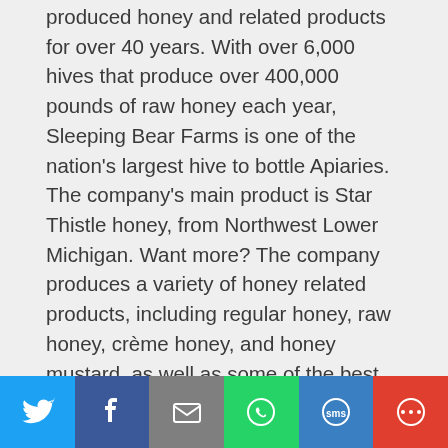produced honey and related products for over 40 years. With over 6,000 hives that produce over 400,000 pounds of raw honey each year, Sleeping Bear Farms is one of the nation's largest hive to bottle Apiaries. The company's main product is Star Thistle honey, from Northwest Lower Michigan. Want more? The company produces a variety of honey related products, including regular honey, raw honey, crème honey, and honey mustard, as well as some of the best Maple Syrup in Michigan! Sleeping Bear Farms products can be found at Meijer, Kroger, Whole Foods, Lucky's Markets, Family Fare, Oleson's and Tom's Markets.
Do you have a Michigan Made favorite? Please share with us in the comments below. We'd love to swap
[Figure (infographic): Social sharing bar with six buttons: Twitter (blue), Facebook (dark blue), Email (gray), WhatsApp (green), SMS (blue), More (red)]